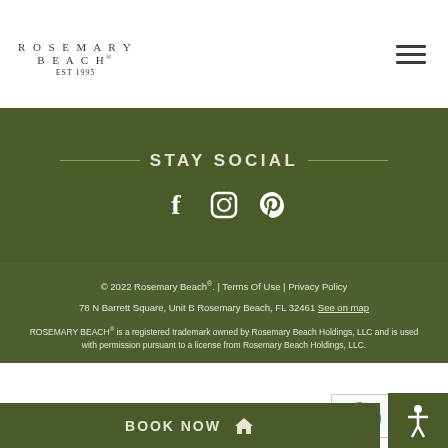ROSEMARY BEACH® EST 1995
STAY SOCIAL
[Figure (illustration): Social media icons: Facebook, Instagram, Pinterest]
© 2022 Rosemary Beach®. | Terms Of Use | Privacy Policy
78 N Barrett Square, Unit B Rosemary Beach, FL 32461 See on map
ROSEMARY BEACH® is a registered trademark owned by Rosemary Beach Holdings, LLC and is used with permission pursuant to a license from Rosemary Beach Holdings, LLC.
BOOK NOW